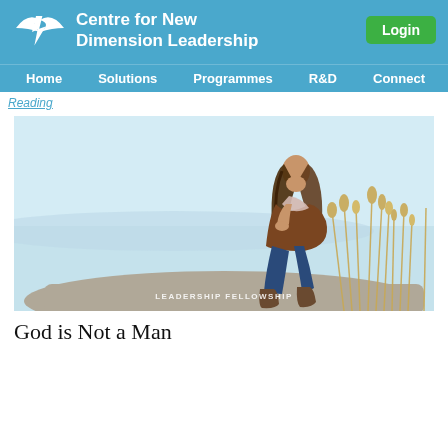Centre for New Dimension Leadership
Reading
[Figure (photo): A young woman with long brown hair sitting on a rock by a lake or sea, wearing a brown jacket, scarf, jeans and boots, looking pensively to the side. Dried grass/reeds visible on the right. Watermark reads: LEADERSHIP FELLOWSHIP]
God is Not a Man